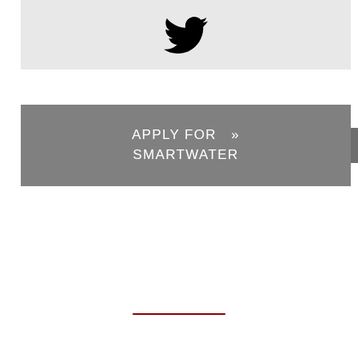[Figure (logo): Twitter bird logo icon in black on a light gray background rectangle]
[Figure (other): Gray banner button with white text reading 'APPLY FOR >> SMARTWATER' with a small right-pointing chevron tab on the right side]